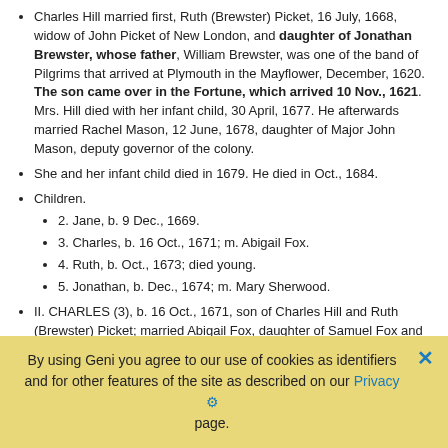Charles Hill married first, Ruth (Brewster) Picket, 16 July, 1668, widow of John Picket of New London, and daughter of Jonathan Brewster, whose father, William Brewster, was one of the band of Pilgrims that arrived at Plymouth in the Mayflower, December, 1620. The son came over in the Fortune, which arrived 10 Nov., 1621. Mrs. Hill died with her infant child, 30 April, 1677. He afterwards married Rachel Mason, 12 June, 1678, daughter of Major John Mason, deputy governor of the colony.
She and her infant child died in 1679. He died in Oct., 1684.
Children.
2. Jane, b. 9 Dec., 1669.
3. Charles, b. 16 Oct., 1671; m. Abigail Fox.
4. Ruth, b. Oct., 1673; died young.
5. Jonathan, b. Dec., 1674; m. Mary Sherwood.
II. CHARLES (3), b. 16 Oct., 1671, son of Charles Hill and Ruth (Brewster) Picket; married Abigail Fox, daughter of Samuel Fox and Mary Lester.
.... etc.
By using Geni you agree to our use of cookies as identifiers and for other features of the site as described on our Privacy page.